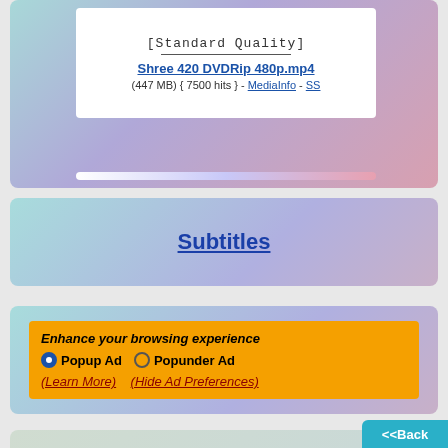[Standard Quality]
Shree 420 DVDRip 480p.mp4
(447 MB) { 7500 hits } - MediaInfo - SS
Subtitles
Enhance your browsing experience
Popup Ad  Popunder Ad
(Learn More)   (Hide Ad Preferences)
Write a review
<<Back